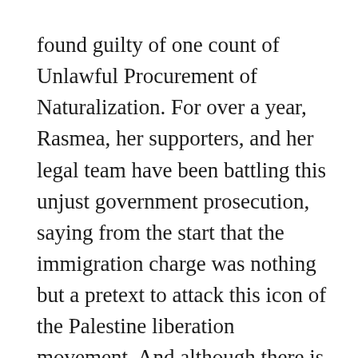found guilty of one count of Unlawful Procurement of Naturalization. For over a year, Rasmea, her supporters, and her legal team have been battling this unjust government prosecution, saying from the start that the immigration charge was nothing but a pretext to attack this icon of the Palestine liberation movement. And although there is real anger and disappointment in the jury's verdict, it was known as early as October 27th that she would not get a full and fair trial.
On that day, Judge Gershwin Drain made a number of rulings that made her defense virtually impossible. The government's